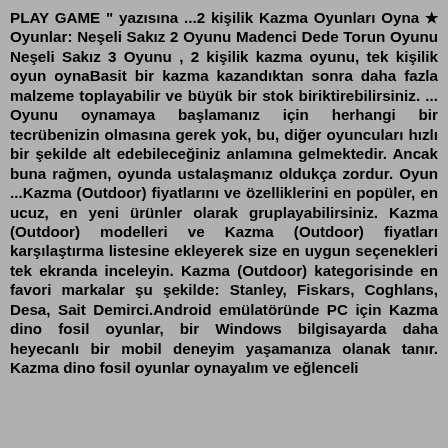PLAY GAME " yazısına ...2 kişilik Kazma Oyunları Oyna ★ Oyunlar: Neşeli Sakız 2 Oyunu Madenci Dede Torun Oyunu Neşeli Sakız 3 Oyunu , 2 kişilik kazma oyunu, tek kişilik oyun oynaBasit bir kazma kazandıktan sonra daha fazla malzeme toplayabilir ve büyük bir stok biriktirebilirsiniz. ... Oyunu oynamaya başlamanız için herhangi bir tecrübenizin olmasına gerek yok, bu, diğer oyuncuları hızlı bir şekilde alt edebileceğiniz anlamına gelmektedir. Ancak buna rağmen, oyunda ustalaşmanız oldukça zordur. Oyun ...Kazma (Outdoor) fiyatlarını ve özelliklerini en popüler, en ucuz, en yeni ürünler olarak gruplayabilirsiniz. Kazma (Outdoor) modelleri ve Kazma (Outdoor) fiyatları karşılaştırma listesine ekleyerek size en uygun seçenekleri tek ekranda inceleyin. Kazma (Outdoor) kategorisinde en favori markalar şu şekilde: Stanley, Fiskars, Coghlans, Desa, Sait Demirci.Android emülatöründe PC için Kazma dino fosil oyunlar, bir Windows bilgisayarda daha heyecanlı bir mobil deneyim yaşamanıza olanak tanır. Kazma dino fosil oyunlar oynayalım ve eğlenceli